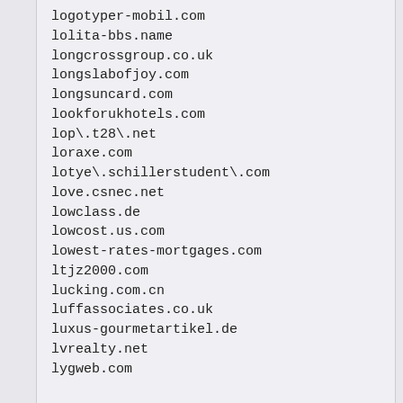logotyper-mobil.com
lolita-bbs.name
longcrossgroup.co.uk
longslabofjoy.com
longsuncard.com
lookforukhotels.com
lop\.t28\.net
loraxe.com
lotye\.schillerstudent\.com
love.csnec.net
lowclass.de
lowcost.us.com
lowest-rates-mortgages.com
ltjz2000.com
lucking.com.cn
luffassociates.co.uk
luxus-gourmetartikel.de
lvrealty.net
lygweb.com